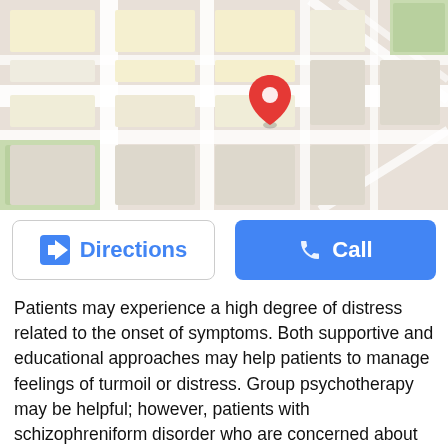[Figure (map): Google Maps street map view of a neighborhood with a red location pin marker in the center.]
[Figure (screenshot): Directions button (blue diamond arrow icon, blue text) and Call button (blue background, white phone icon and text).]
Patients may experience a high degree of distress related to the onset of symptoms. Both supportive and educational approaches may help patients to manage feelings of turmoil or distress. Group psychotherapy may be helpful; however, patients with schizophreniform disorder who are concerned about their prognosis may become frightened in groups in which they are mixed with patients who have chronic schizophrenia. Thus, care must be taken when forming therapy groups.
Family and social-vocational therapies